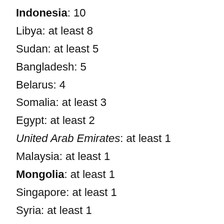Indonesia: 10
Libya: at least 8
Sudan: at least 5
Bangladesh: 5
Belarus: 4
Somalia: at least 3
Egypt: at least 2
United Arab Emirates: at least 1
Malaysia: at least 1
Mongolia: at least 1
Singapore: at least 1
Syria: at least 1
Bahrain: 1